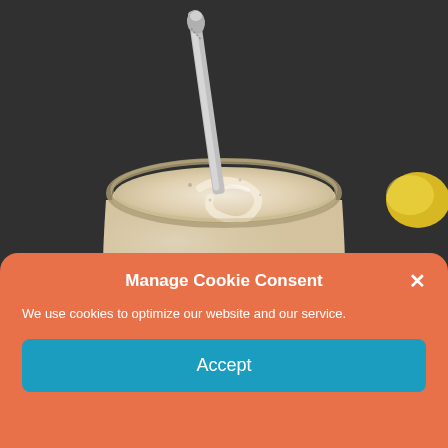[Figure (photo): Close-up photo of a creamy beige smoothie or yogurt in a glass jar with a decorative metal spoon inserted, on a dark slate background with a lemon and nuts visible.]
Manage Cookie Consent
We use cookies to optimize our website and our service.
Accept